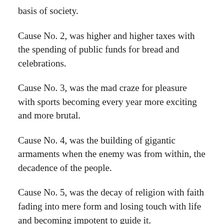basis of society.
Cause No. 2, was higher and higher taxes with the spending of public funds for bread and celebrations.
Cause No. 3, was the mad craze for pleasure with sports becoming every year more exciting and more brutal.
Cause No. 4, was the building of gigantic armaments when the enemy was from within, the decadence of the people.
Cause No. 5, was the decay of religion with faith fading into mere form and losing touch with life and becoming impotent to guide it.
Now you will notice that those five reasons that he has